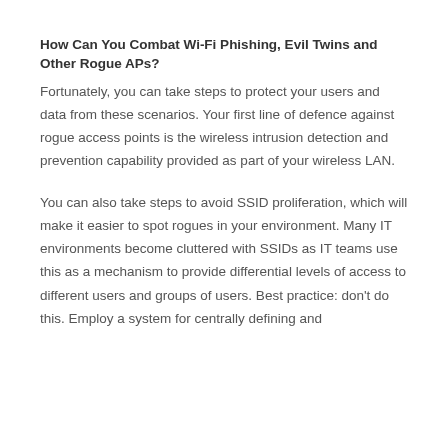How Can You Combat Wi-Fi Phishing, Evil Twins and Other Rogue APs?
Fortunately, you can take steps to protect your users and data from these scenarios. Your first line of defence against rogue access points is the wireless intrusion detection and prevention capability provided as part of your wireless LAN.
You can also take steps to avoid SSID proliferation, which will make it easier to spot rogues in your environment. Many IT environments become cluttered with SSIDs as IT teams use this as a mechanism to provide differential levels of access to different users and groups of users. Best practice: don't do this. Employ a system for centrally defining and